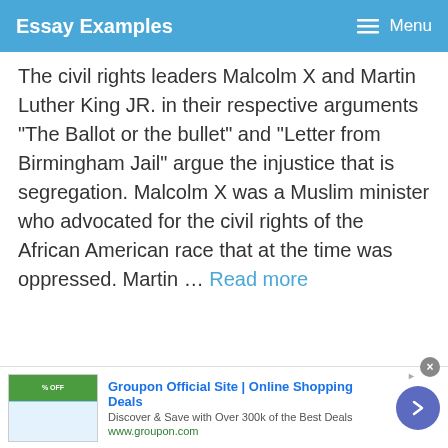Essay Examples  Menu
The civil rights leaders Malcolm X and Martin Luther King JR. in their respective arguments “The Ballot or the bullet” and “Letter from Birmingham Jail” argue the injustice that is segregation. Malcolm X was a Muslim minister who advocated for the civil rights of the African American race that at the time was oppressed. Martin … Read more
[Figure (other): Groupon advertisement banner with thumbnail image of Groupon website screenshot, ad title 'Groupon Official Site | Online Shopping Deals', subtitle 'Discover & Save with Over 300k of the Best Deals', URL 'www.groupon.com', and a purple arrow button on the right.]